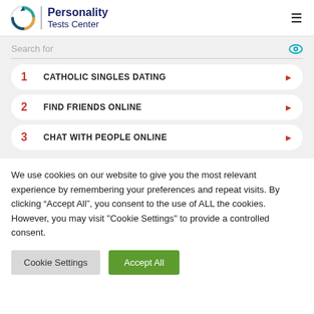Personality Tests Center
[Figure (logo): Personality Tests Center logo with circular arrow icon]
1 CATHOLIC SINGLES DATING
2 FIND FRIENDS ONLINE
3 CHAT WITH PEOPLE ONLINE
We use cookies on our website to give you the most relevant experience by remembering your preferences and repeat visits. By clicking “Accept All”, you consent to the use of ALL the cookies. However, you may visit "Cookie Settings" to provide a controlled consent.